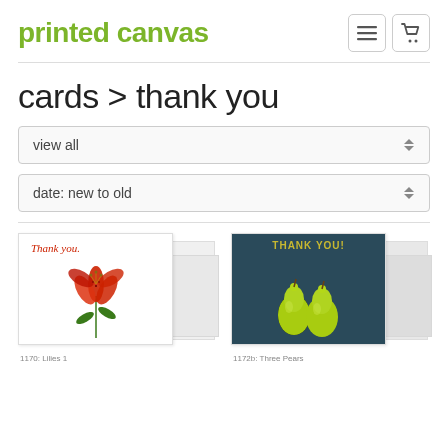printed canvas
cards > thank you
view all
date: new to old
[Figure (photo): Thank you card with red lily flower illustration, front and back view]
1170: Lilies 1
[Figure (photo): Thank you card with two green pears on dark teal background, front and back view]
1172b: Three Pears